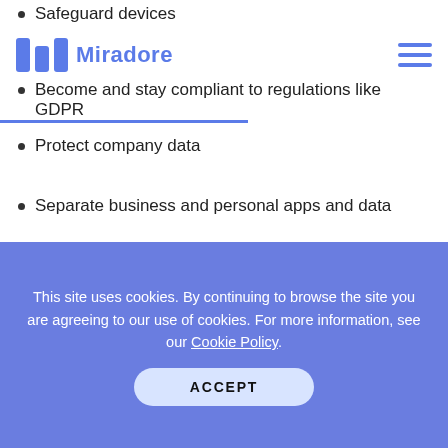Miradore
Safeguard devices
Become and stay compliant to regulations like GDPR
Protect company data
Separate business and personal apps and data
Access comprehensive up-to-date analytics
Encrypt all confidential content
Get started easier and faster than you would with any other product on the market, saving up to 30 minutes per device.
This site uses cookies. By continuing to browse the site you are agreeing to our use of cookies. For more information, see our Cookie Policy.